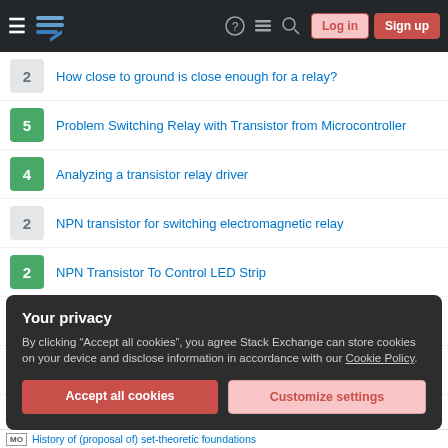Stack Exchange navigation bar with hamburger menu, logo, help, chat, search icons, Log in and Sign up buttons
2 | How close to ground is close enough for a relay?
5 | Problem Switching Relay with Transistor from Microcontroller
4 | Analyzing a transistor relay driver
2 | NPN transistor for switching electromagnetic relay
2 | NPN Transistor To Control LED Strip
4 | Understanding driving a relay with a transistor
0 | Transistor base current
1 | Installing a relay and its ratings
Your privacy
By clicking “Accept all cookies”, you agree Stack Exchange can store cookies on your device and disclose information in accordance with our Cookie Policy.
Accept all cookies | Customize settings
M0 | History of (proposal of) set-theoretic foundations